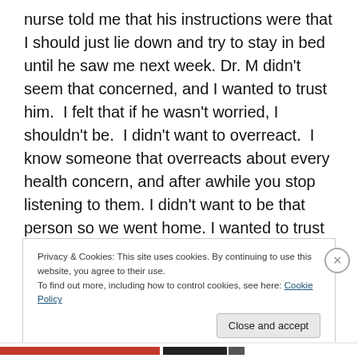nurse told me that his instructions were that I should just lie down and try to stay in bed until he saw me next week. Dr. M didn't seem that concerned, and I wanted to trust him.  I felt that if he wasn't worried, I shouldn't be.  I didn't want to overreact.  I know someone that overreacts about every health concern, and after awhile you stop listening to them. I didn't want to be that person so we went home. I wanted to trust my doctor. Trust that they wanted to do the right thing and would never put me or my baby in harm's way.
Privacy & Cookies: This site uses cookies. By continuing to use this website, you agree to their use.
To find out more, including how to control cookies, see here: Cookie Policy